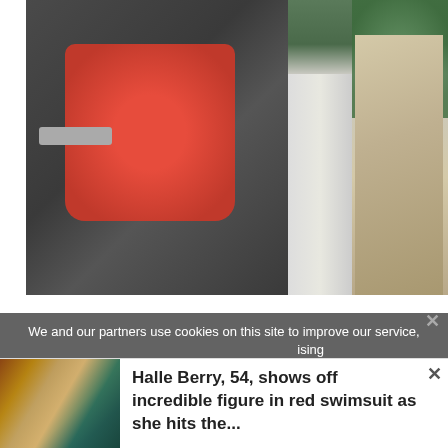[Figure (photo): A person wearing a red/pink polo shirt standing next to a dark car, with a stone/concrete pillar and green tree visible to the right. The person appears to be holding something small. Outdoor setting.]
We and our partners use cookies on this site to improve our service,
[Figure (photo): Thumbnail images showing Halle Berry in various outfits including a red swimsuit]
Halle Berry, 54, shows off incredible figure in red swimsuit as she hits the...